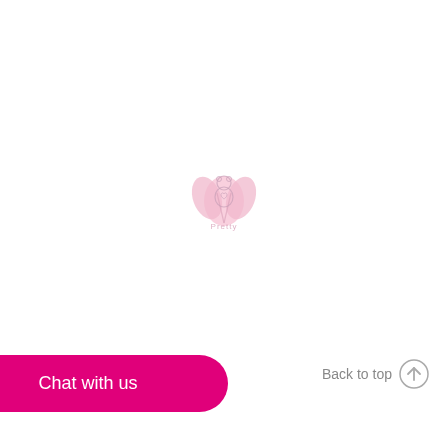[Figure (logo): A faint pink tulip flower logo with a small bear/baby figure nestled inside the bloom, with the word 'Pretty' written below in pink text]
Chat with us
Back to top